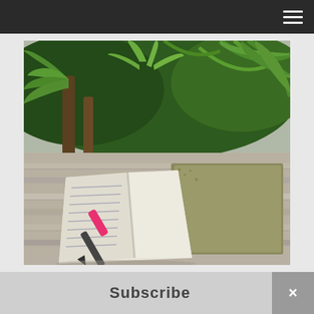[Figure (photo): An open journal/notebook with handwriting and a pink pen resting on it, placed on a weathered wooden table outdoors. In the background are lush tropical green plants including palm fronds and cycads.]
Subscribe
×